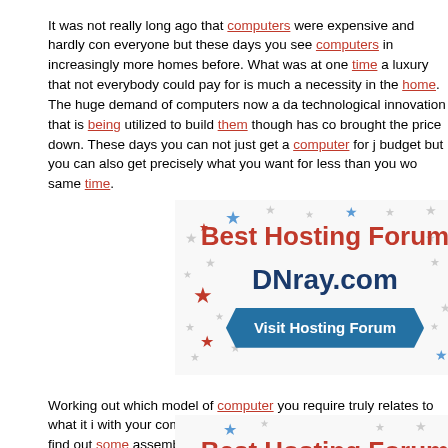It was not really long ago that computers were expensive and hardly con everyone but these days you see computers in increasingly more homes before. What was at one time a luxury that not everybody could pay for is much a necessity in the home. The huge demand of computers now a da technological innovation that is being utilized to build them though has co brought the price down. These days you can not just get a computer for j budget but you can also get precisely what you want for less than you wo same time.
[Figure (infographic): Best Hosting Forum advertisement banner for DNray.com with stars background, red bold title 'Best Hosting Forum', dark navy 'DNray.com', and blue ribbon button 'Visit Hosting Forum']
Working out which model of computer you require truly relates to what it i with your computer. Once you determine this then you can find out some assembles cheap custom computers and tell them just what it is that you
[Figure (infographic): Partial Best Hosting Forum advertisement banner (bottom of page), showing red bold text 'Best Hosting Forum' with stars background]